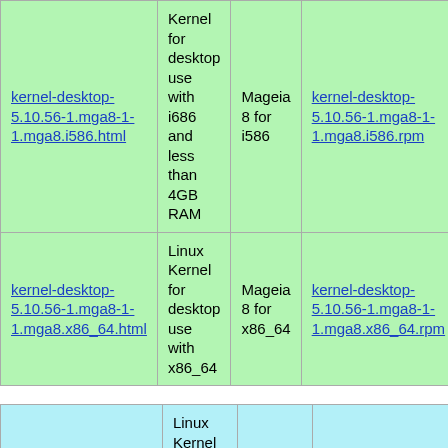| Link | Description | Platform | RPM Link |
| --- | --- | --- | --- |
| kernel-desktop-5.10.56-1.mga8-1-1.mga8.i586.html | Kernel for desktop use with i686 and less than 4GB RAM | Mageia 8 for i586 | kernel-desktop-5.10.56-1.mga8-1-1.mga8.i586.rpm |
| kernel-desktop-5.10.56-1.mga8-1-1.mga8.x86_64.html | Linux Kernel for desktop use with x86_64 | Mageia 8 for x86_64 | kernel-desktop-5.10.56-1.mga8-1-1.mga8.x86_64.rpm |
| Link | Description | Platform | RPM Link |
| --- | --- | --- | --- |
| kernel-desktop-5.10.6-1.mga7-1-1.mga7.aarch64.html | Linux Kernel for desktop use with aarch64 | Mageia 7 for aarch64 | kernel-desktop-5.10.6-1.mga7-1-1.mga7.aarch64.rpm |
| kernel-desktop-5.10.6-1.mga7-1-... | Linux Kernel for desktop use with ... | Mageia 7 for ... | kernel-desktop-5.10.6-1.mga7-1-... |